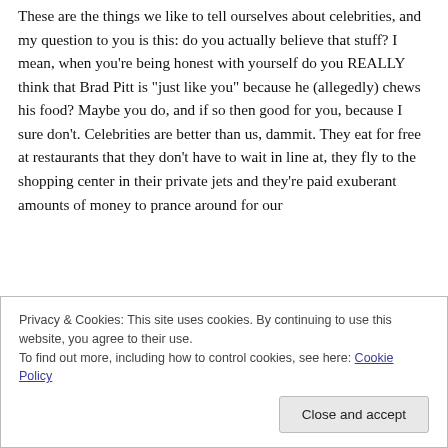These are the things we like to tell ourselves about celebrities, and my question to you is this: do you actually believe that stuff? I mean, when you're being honest with yourself do you REALLY think that Brad Pitt is “just like you” because he (allegedly) chews his food? Maybe you do, and if so then good for you, because I sure don’t. Celebrities are better than us, dammit. They eat for free at restaurants that they don’t have to wait in line at, they fly to the shopping center in their private jets and they’re paid exuberant amounts of money to prance around for our
Privacy & Cookies: This site uses cookies. By continuing to use this website, you agree to their use.
To find out more, including how to control cookies, see here: Cookie Policy
Close and accept